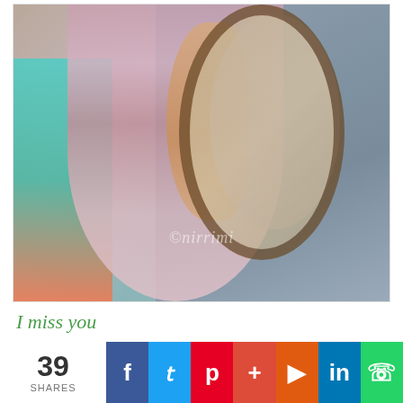[Figure (photo): A woman in a pink/mauve smocked off-shoulder dress holding an ornate round mirror, photographed from behind. Her reflection is visible in the mirror. The background includes a teal-painted wall on the left and a gray wall on the right. A watermark '©nirrimi' is visible on the photo.]
I miss you
39 SHARES
f  t  p  +  ▶  in